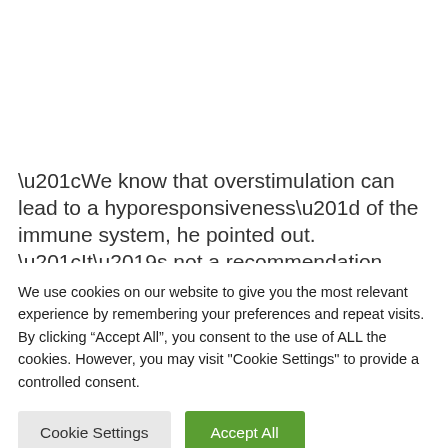“We know that overstimulation can lead to a hyporesponsiveness” of the immune system, he pointed out. “It’s not a recommendation
We use cookies on our website to give you the most relevant experience by remembering your preferences and repeat visits. By clicking “Accept All”, you consent to the use of ALL the cookies. However, you may visit "Cookie Settings" to provide a controlled consent.
Cookie Settings | Accept All